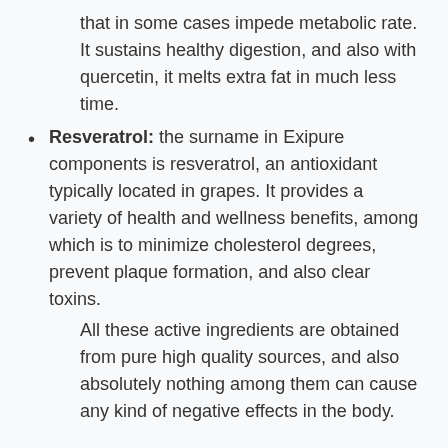that in some cases impede metabolic rate. It sustains healthy digestion, and also with quercetin, it melts extra fat in much less time.
Resveratrol: the surname in Exipure components is resveratrol, an antioxidant typically located in grapes. It provides a variety of health and wellness benefits, among which is to minimize cholesterol degrees, prevent plaque formation, and also clear toxins.
All these active ingredients are obtained from pure high quality sources, and also absolutely nothing among them can cause any kind of negative effects in the body.
Review what Exipure assesses from customers